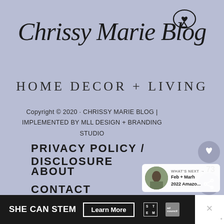[Figure (logo): Chrissy Marie Blog logo with script font and speech bubble with heart icon above]
Chrissy Marie Blog
HOME DECOR + LIVING
Copyright © 2020 · CHRISSY MARIE BLOG | IMPLEMENTED BY MLL DESIGN + BRANDING STUDIO
PRIVACY POLICY / DISCLOSURE
ABOUT
CONTACT
[Figure (screenshot): Social UI overlay: heart icon circle, count 73, share icon circle]
[Figure (screenshot): What's Next card: Feb + Marh 2022 Amazo...]
[Figure (screenshot): SHE CAN STEM advertisement bar at bottom with Learn More button and STEM/Ad Council logos]